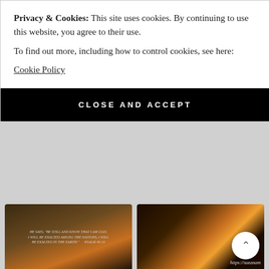Privacy & Cookies: This site uses cookies. By continuing to use this website, you agree to their use.
To find out more, including how to control cookies, see here:
Cookie Policy
CLOSE AND ACCEPT
[Figure (photo): Dark landscape photo with Psalm 46:10 Bible verse text overlay: 'HE SAYS, BE STILL AND KNOW THAT I AM GOD. I WILL BE EXALTED AMONG THE NATIONS, I WILL BE EXALTED IN THE EARTH. PSALM 46:10']
visit link
7. Missing The Beach
[Figure (photo): Golden light rays photo with partial URL text overlay: https://suzanam...]
visit link
8. When we look attentive
[Figure (photo): Blue sky with green trees and grass field photo]
[Figure (photo): White cat sleeping on reddish/pink surface photo]